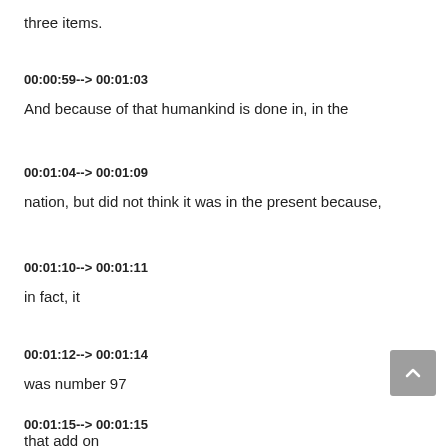three items.
00:00:59--> 00:01:03
And because of that humankind is done in, in the
00:01:04--> 00:01:09
nation, but did not think it was in the present because,
00:01:10--> 00:01:11
in fact, it
00:01:12--> 00:01:14
was number 97
00:01:15--> 00:01:15
that add on